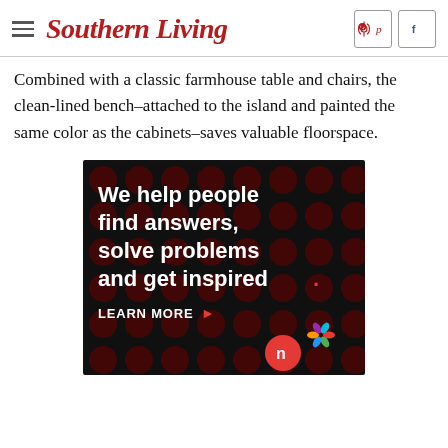Southern Living
Combined with a classic farmhouse table and chairs, the clean-lined bench–attached to the island and painted the same color as the cabinets–saves valuable floorspace.
[Figure (infographic): Advertisement banner with dark background and polka dot pattern. Text reads: 'We help people find answers, solve problems and get inspired.' with a red period. Below is 'LEARN MORE' with a right arrow. Bottom right shows logos including a red circle with a person icon and a colorful flower/snowflake logo.]